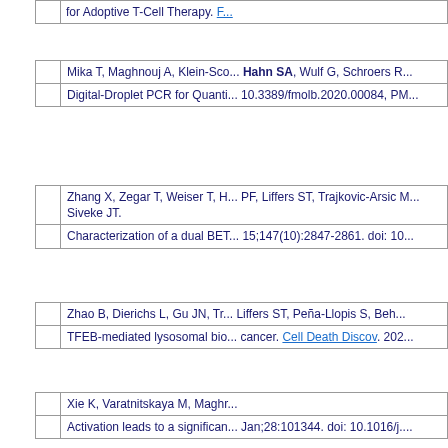|  | for Adoptive T-Cell Therapy. [link] |
|  | Mika T, Maghnouj A, Klein-Scory S, Hahn SA, Wulf G, Schroers R |
|  | Digital-Droplet PCR for Quanti... 10.3389/fmolb.2020.00084, PM... |
|  | Zhang X, Zegar T, Weiser T, H... PF, Liffers ST, Trajkovic-Arsic M... Siveke JT. |
|  | Characterization of a dual BET... 15;147(10):2847-2861. doi: 10... |
|  | Zhao B, Dierichs L, Gu JN, Tra... Liffers ST, Peña-Llopis S, Beh... |
|  | TFEB-mediated lysosomal bio... cancer. Cell Death Discov. 202... |
|  | Xie K, Varatnitskaya M, Maghr... |
|  | Activation leads to a significan... Jan;28:101344. doi: 10.1016/j.... |
|  | Stepath M, Zülch B, Maghnouj... |
|  | Systematic Comparison of Lab... Signaling in the Colorectal Ca... |